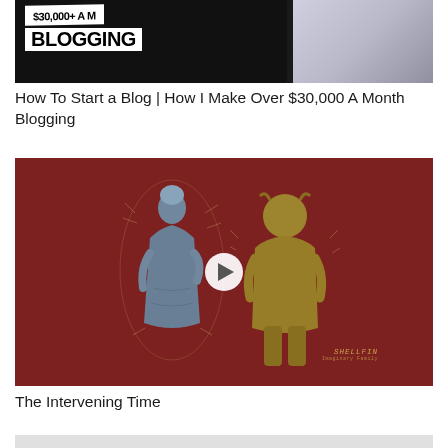[Figure (photo): Thumbnail image showing text '$30,000+ A Month BLOGGING' with a woman holding a phone in the background, white sweater, dark background on left side]
How To Start a Blog | How I Make Over $30,000 A Month Blogging
[Figure (illustration): Dark red/maroon background with two illustrated figures: a blue-tinted female statue-like figure on the left and a yellow-olive toned male figure on the right, signed 'SHELLFIN' at bottom right, with a white play button circle in the center]
The Intervening Time